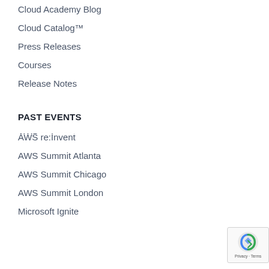Cloud Academy Blog
Cloud Catalog™
Press Releases
Courses
Release Notes
PAST EVENTS
AWS re:Invent
AWS Summit Atlanta
AWS Summit Chicago
AWS Summit London
Microsoft Ignite